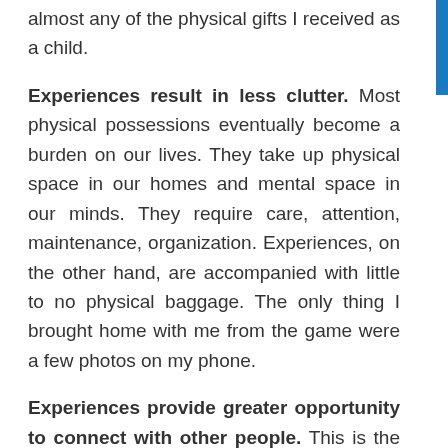almost any of the physical gifts I received as a child.
Experiences result in less clutter. Most physical possessions eventually become a burden on our lives. They take up physical space in our homes and mental space in our minds. They require care, attention, maintenance, organization. Experiences, on the other hand, are accompanied with little to no physical baggage. The only thing I brought home with me from the game were a few photos on my phone.
Experiences provide greater opportunity to connect with other people. This is the nature of experiencing things with others. Because we enjoy time together around a common purpose